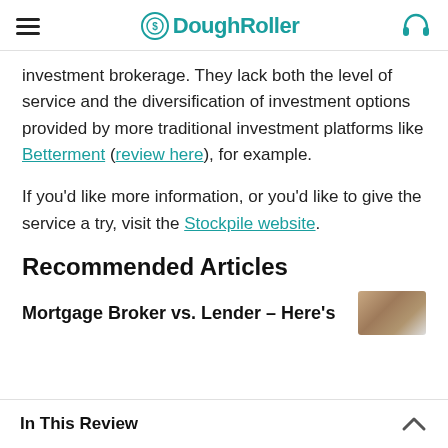DoughRoller
investment brokerage. They lack both the level of service and the diversification of investment options provided by more traditional investment platforms like Betterment (review here), for example.
If you'd like more information, or you'd like to give the service a try, visit the Stockpile website.
Recommended Articles
Mortgage Broker vs. Lender – Here's
In This Review